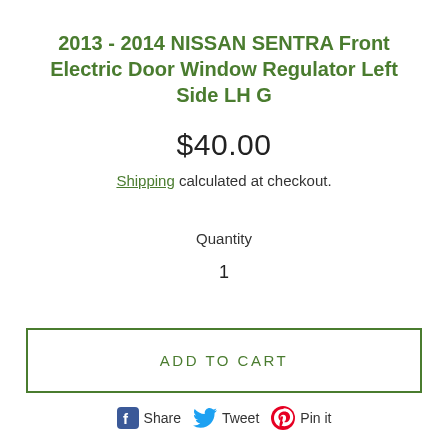2013 - 2014 NISSAN SENTRA Front Electric Door Window Regulator Left Side LH G
$40.00
Shipping calculated at checkout.
Quantity
1
ADD TO CART
Share  Tweet  Pin it